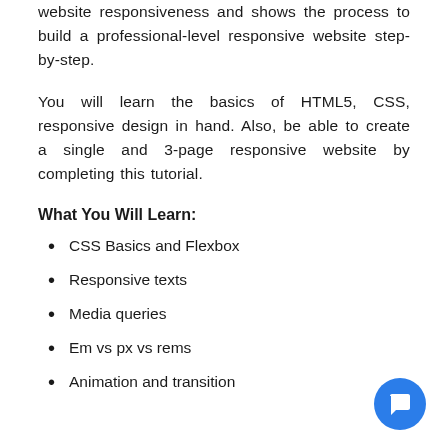website responsiveness and shows the process to build a professional-level responsive website step-by-step.
You will learn the basics of HTML5, CSS, responsive design in hand. Also, be able to create a single and 3-page responsive website by completing this tutorial.
What You Will Learn:
CSS Basics and Flexbox
Responsive texts
Media queries
Em vs px vs rems
Animation and transition